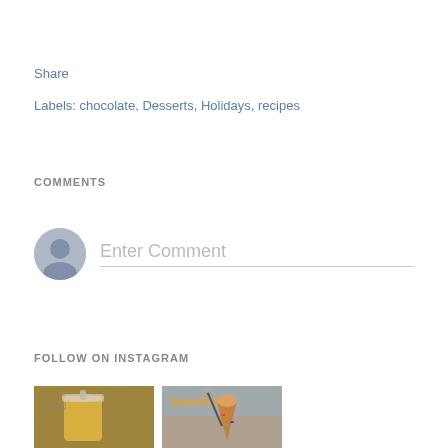Share
Labels: chocolate, Desserts, Holidays, recipes
COMMENTS
Enter Comment
FOLLOW ON INSTAGRAM
[Figure (photo): Instagram photo of a yellow/orange iced drink in a cup]
[Figure (photo): Instagram photo showing SomiSomi brand ice cream cone being held]